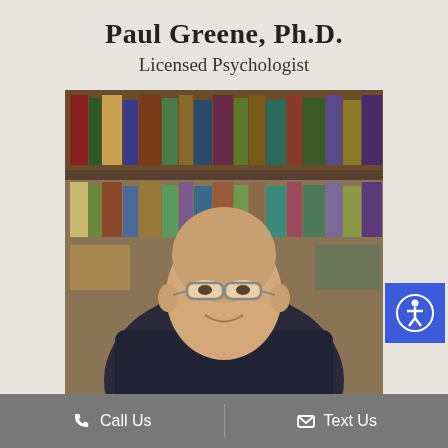Paul Greene, Ph.D.
Licensed Psychologist
[Figure (photo): Professional headshot of Paul Greene, Ph.D. — an older bald man wearing glasses and a dark blazer with a light blue collared shirt, smiling, seated in front of a bookshelf filled with books.]
Call Us   Text Us